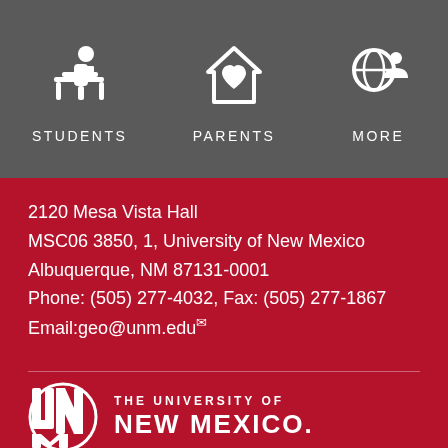[Figure (infographic): Navigation bar with three icons and labels: STUDENTS (person at desk icon), PARENTS (house with heart icon), MORE (globe with person icon)]
2120 Mesa Vista Hall
MSC06 3850, 1, University of New Mexico
Albuquerque, NM 87131-0001
Phone: (505) 277-4032, Fax: (505) 277-1867
Email:geo@unm.edu
[Figure (logo): The University of New Mexico logo — interlocking UNM letters in white with text THE UNIVERSITY OF NEW MEXICO.]
© The University of New Mexico